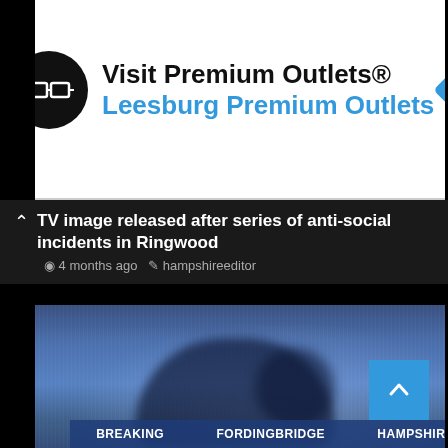[Figure (advertisement): Ad banner: Visit Premium Outlets® — Leesburg Premium Outlets, with circular logo and diamond navigation icon]
CCTV image released after series of anti-social incidents in Ringwood
4 months ago  hampshireeditor
[Figure (photo): Blurry CCTV footage showing a figure in a blue-toned scene, typical low-quality surveillance camera image]
BREAKING   FORDINGBRIDGE   HAMPSHIRE